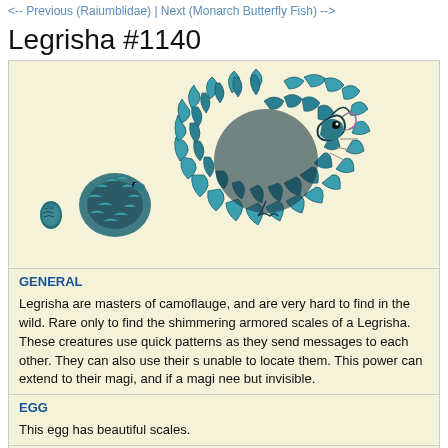<-- Previous (Raiumblidae) | Next (Monarch Butterfly Fish) -->
Legrisha #1140
[Figure (illustration): Pixel art illustration of the Legrisha creature at three sizes/stages: a large teal/blue scaled creature curled into a ball with a swirling tail, a medium-sized version curled similarly, and a tiny egg/hatchling version. The creature has overlapping armored scales in teal and blue-green colors.]
GENERAL
Legrisha are masters of camoflauge, and are very hard to find in the wild. Rare only to find the shimmering armored scales of a Legrisha. These creatures use quick patterns as they send messages to each other. They can also use their s unable to locate them. This power can extend to their magi, and if a magi nee but invisible.
EGG
This egg has beautiful scales.
HATCHLING
Young legrisha have not yet mastered control over their camoflauge scales, an ball. They tend to shimmer in the sun as they walk and hunt for insects to eat, reflected off their scales seems to put off predators who may otherwise eat the